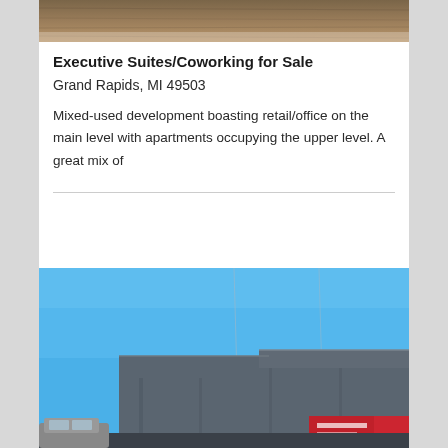[Figure (photo): Top portion of a textured brown/tan surface (wooden or similar material), partially cropped]
Executive Suites/Coworking for Sale
Grand Rapids, MI 49503
Mixed-used development boasting retail/office on the main level with apartments occupying the upper level. A great mix of
[Figure (photo): Exterior photo of a commercial/industrial building with dark grey siding under a bright blue sky. A red sign is visible at the bottom right. A car is partially visible at the bottom left.]